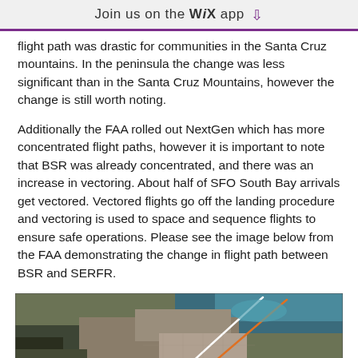Join us on the WiX app ↓
flight path was drastic for communities in the Santa Cruz mountains. In the peninsula the change was less significant than in the Santa Cruz Mountains, however the change is still worth noting.

Additionally the FAA rolled out NextGen which has more concentrated flight paths, however it is important to note that BSR was already concentrated, and there was an increase in vectoring. About half of SFO South Bay arrivals get vectored. Vectored flights go off the landing procedure and vectoring is used to space and sequence flights to ensure safe operations. Please see the image below from the FAA demonstrating the change in flight path between BSR and SERFR.
[Figure (map): Aerial/satellite map image showing flight path change between BSR and SERFR procedures over the San Francisco Bay Area peninsula and Santa Cruz Mountains region, with white and orange lines indicating flight paths.]